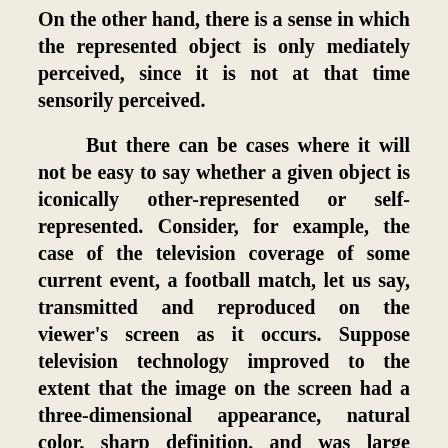On the other hand, there is a sense in which the represented object is only mediately perceived, since it is not at that time sensorily perceived.
But there can be cases where it will not be easy to say whether a given object is iconically other-represented or self-represented. Consider, for example, the case of the television coverage of some current event, a football match, let us say, transmitted and reproduced on the viewer's screen as it occurs. Suppose television technology improved to the extent that the image on the screen had a three-dimensional appearance, natural color, sharp definition, and was large enough to encompass the total field of vision. In spite of the